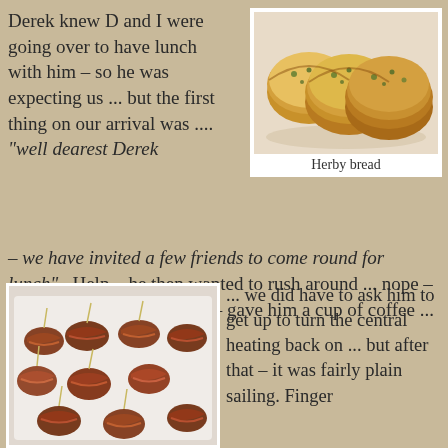Derek knew D and I were going over to have lunch with him – so he was expecting us ... but the first thing on our arrival was .... "well dearest Derek – we have invited a few friends to come round for lunch". Help – he then wanted to rush around ... nope – D ordered him to sit down – gave him a cup of coffee ...
[Figure (photo): Photo of herby garlic bread slices on a white plate]
Herby bread
[Figure (photo): Photo of bacon-wrapped dates or prunes on toothpicks arranged on a white surface]
... we did have to ask him to get up to turn the central heating back on ... but after that – it was fairly plain sailing. Finger